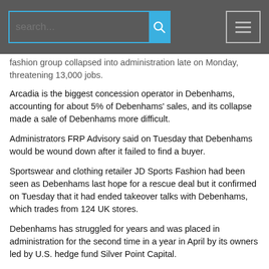search... [search button] [menu button]
fashion group collapsed into administration late on Monday, threatening 13,000 jobs.
Arcadia is the biggest concession operator in Debenhams, accounting for about 5% of Debenhams' sales, and its collapse made a sale of Debenhams more difficult.
Administrators FRP Advisory said on Tuesday that Debenhams would be wound down after it failed to find a buyer.
Sportswear and clothing retailer JD Sports Fashion had been seen as Debenhams last hope for a rescue deal but it confirmed on Tuesday that it had ended takeover talks with Debenhams, which trades from 124 UK stores.
Debenhams has struggled for years and was placed in administration for the second time in a year in April by its owners led by U.S. hedge fund Silver Point Capital.